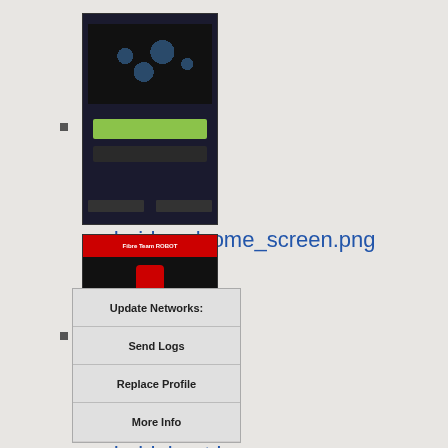android_welcome_screen.png
1200×1920
2014/10/15 17:30
201.8 KB
androidabout.jpg
390×634
2013/07/30 23:07
33.5 KB
[Figure (screenshot): Partial screenshot of an Android app showing Update Networks, Send Logs, Replace Profile, More Info buttons]